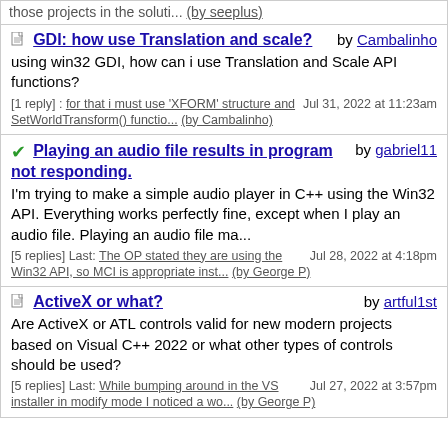those projects in the soluti... (by seeplus)
GDI: how use Translation and scale? by Cambalinho
using win32 GDI, how can i use Translation and Scale API functions?
[1 reply] : for that i must use 'XFORM' structure and SetWorldTransform() functio... (by Cambalinho) Jul 31, 2022 at 11:23am
Playing an audio file results in program not responding. by gabriel11
I'm trying to make a simple audio player in C++ using the Win32 API. Everything works perfectly fine, except when I play an audio file. Playing an audio file ma...
[5 replies] Last: The OP stated they are using the Win32 API, so MCI is appropriate inst... (by George P) Jul 28, 2022 at 4:18pm
ActiveX or what? by artful1st
Are ActiveX or ATL controls valid for new modern projects based on Visual C++ 2022 or what other types of controls should be used?
[5 replies] Last: While bumping around in the VS installer in modify mode I noticed a wo... (by George P) Jul 27, 2022 at 3:57pm